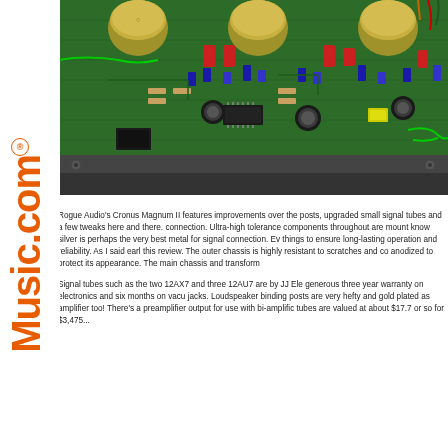[Figure (photo): Interior photo of Rogue Audio Cronus Magnum II amplifier showing green circuit board with vacuum tubes, capacitors, transformers, and wiring]
Rogue Audio's Cronus Magnum II features improvements over the posts, upgraded small signal tubes and a few tweaks here and there. connection. Ultra-high tolerance components throughout are mount know silver is perhaps the very best metal for signal connection. Ev things to ensure long-lasting operation and reliability. As I said earl this review. The outer chassis is highly resistant to scratches and co anodized to protect its appearance. The main chassis and transform
Signal tubes such as the two 12AX7 and three 12AU7 are by JJ Ele generous three year warranty on electronics and six months on vacu jacks. Loudspeaker binding posts are very hefty and gold plated as amplifier too! There's a preamplifier output for use with bi-amplific tubes are valued at about $17.7 or so for $3,475...